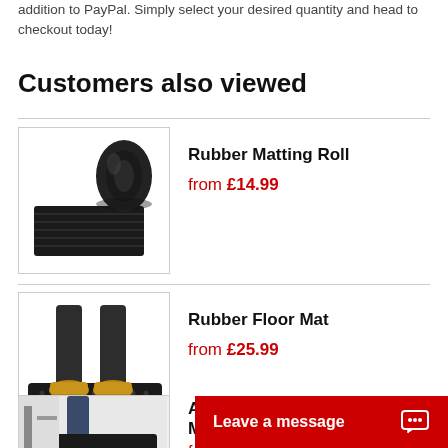addition to PayPal. Simply select your desired quantity and head to checkout today!
Customers also viewed
[Figure (photo): Rolled rubber matting roll, black, shown unrolling on a white background]
Rubber Matting Roll
from £14.99
[Figure (photo): Person standing on a rubber floor mat wearing work boots, black mat on white background]
Rubber Floor Mat
from £25.99
[Figure (photo): Partial view of Anti Fatigue Comfort Floor Mat product image]
Anti Fatigue Comfort Floor Mat
fr...
Leave a message